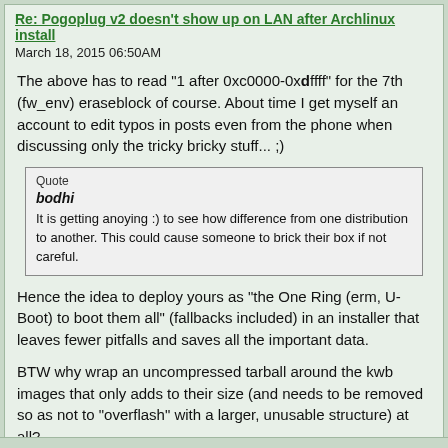Re: Pogoplug v2 doesn't show up on LAN after Archlinux install
March 18, 2015 06:50AM
The above has to read "1 after 0xc0000-0xdffff" for the 7th (fw_env) eraseblock of course. About time I get myself an account to edit typos in posts even from the phone when discussing only the tricky bricky stuff... ;)
Quote
bodhi
It is getting anoying :) to see how difference from one distribution to another. This could cause someone to brick their box if not careful.
Hence the idea to deploy yours as "the One Ring (erm, U-Boot) to boot them all" (fallbacks included) in an installer that leaves fewer pitfalls and saves all the important data.
BTW why wrap an uncompressed tarball around the kwb images that only adds to their size (and needs to be removed so as not to "overflash" with a larger, unusable structure) at all?
Reply  Quote